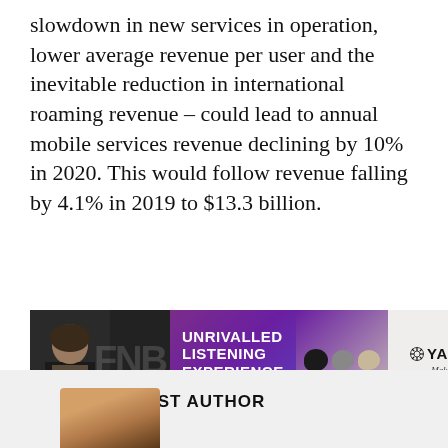slowdown in new services in operation, lower average revenue per user and the inevitable reduction in international roaming revenue – could lead to annual mobile services revenue declining by 10% in 2020. This would follow revenue falling by 4.1% in 2019 to $13.3 billion.
[Figure (illustration): Yamaha TW-E7B earbuds advertisement banner with purple background, person on left, three earbud variants (black, gray, beige) and Yamaha Make Waves logo on right. Text: UNRIVALLED LISTENING EXPERIENCE TW-E7B]
ABOUT POST AUTHOR
[Figure (photo): Author profile photo — woman with blonde hair, partial top of head visible at bottom of page]